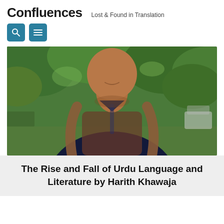Confluences   Lost & Found in Translation
[Figure (photo): Young man with a backpack smiling outdoors surrounded by green trees, photo cropped from chest up]
The Rise and Fall of Urdu Language and Literature by Harith Khawaja